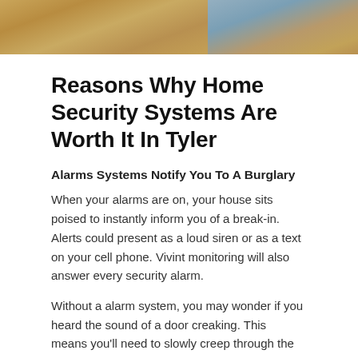[Figure (photo): Top portion of a photo showing wooden cabinets/furniture on the left and a lighter colored surface on the right, cropped at top of page]
Reasons Why Home Security Systems Are Worth It In Tyler
Alarms Systems Notify You To A Burglary
When your alarms are on, your house sits poised to instantly inform you of a break-in. Alerts could present as a loud siren or as a text on your cell phone. Vivint monitoring will also answer every security alarm.
Without a alarm system, you may wonder if you heard the sound of a door creaking. This means you'll need to slowly creep through the house to find out who's there. If a prowler breaks in when you're away from